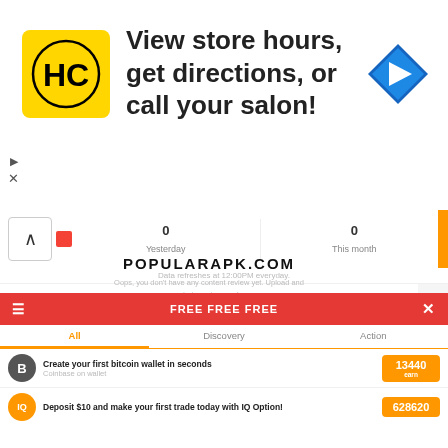[Figure (screenshot): Advertisement banner for a salon app (HC logo) with text: View store hours, get directions, or call your salon! with a navigation arrow icon on the right, and ad controls (triangle/x) on the left side.]
[Figure (screenshot): App screenshot showing a tab bar with '0 Yesterday' and '0 This month', data refreshes notice, a wallet illustration, POPULARAPK.COM watermark, placeholder text, Upload Videos button, and a notification panel at the bottom with FREE FREE FREE header and two notification items about bitcoin wallet and IQ Option deposit.]